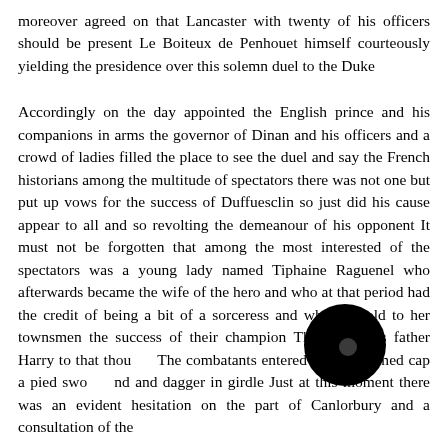moreover agreed on that Lancaster with twenty of his officers should be present Le Boiteux de Penhouet himself courteously yielding the presidence over this solemn duel to the Duke
Accordingly on the day appointed the English prince and his companions in arms the governor of Dinan and his officers and a crowd of ladies filled the place to see the duel and say the French historians among the multitude of spectators there was not one but put up vows for the success of Duffuesclin so just did his cause appear to all and so revolting the demeanour of his opponent It must not be forgotten that among the most interested of the spectators was a young lady named Tiphaine Raguenel who afterwards became the wife of the hero and who at that period had the credit of being a bit of a sorceress and who foretold to her townsmen the success of their champion Thy wish was father Harry to that thought The combatants entered the lists armed cap a pied swor and and dagger in girdle Just at this moment there was an evident hesitation on the part of Canlorbury and a consultation of the